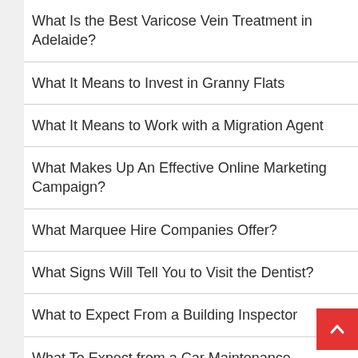What Is the Best Varicose Vein Treatment in Adelaide?
What It Means to Invest in Granny Flats
What It Means to Work with a Migration Agent
What Makes Up An Effective Online Marketing Campaign?
What Marquee Hire Companies Offer?
What Signs Will Tell You to Visit the Dentist?
What to Expect From a Building Inspector
What To Expect from a Car Maintenance Service?